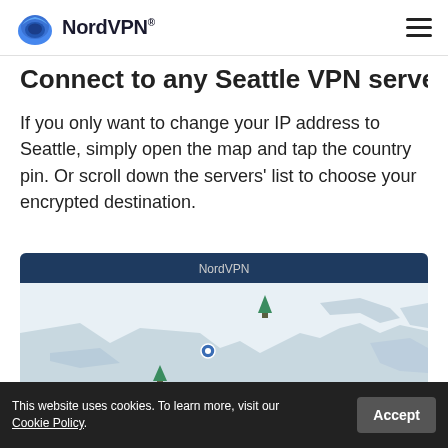NordVPN
Connect to any Seattle VPN server
If you only want to change your IP address to Seattle, simply open the map and tap the country pin. Or scroll down the servers' list to choose your encrypted destination.
[Figure (screenshot): NordVPN app screenshot showing a map interface with location pins for Seattle VPN servers, with a NordVPN header bar in dark teal.]
This website uses cookies. To learn more, visit our Cookie Policy.